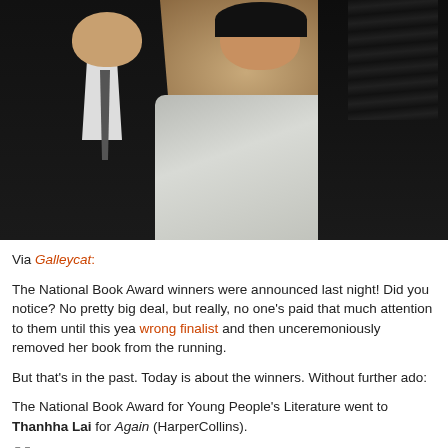[Figure (photo): Three people standing together at what appears to be an awards ceremony. A man in a black suit and bow tie on the left, a woman in a silver/grey patterned dress in the center smiling, and a person with dreadlocks partially visible on the right.]
Via Galleycat:
The National Book Award winners were announced last night! Did you notice? No pretty big deal, but really, no one's paid that much attention to them until this year wrong finalist and then unceremoniously removed her book from the running.
But that's in the past. Today is about the winners. Without further ado:
The National Book Award for Young People's Literature went to Thanhha Lai for Again (HarperCollins).
For all the ten years of her life, Hà has only known Saigon; the thrills o